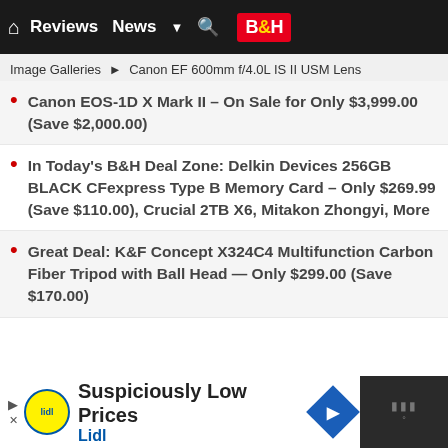Reviews  News  B&H
Image Galleries ▶ Canon EF 600mm f/4.0L IS II USM Lens
Canon EOS-1D X Mark II – On Sale for Only $3,999.00 (Save $2,000.00)
In Today's B&H Deal Zone: Delkin Devices 256GB BLACK CFexpress Type B Memory Card – Only $269.99 (Save $110.00), Crucial 2TB X6, Mitakon Zhongyi, More
Great Deal: K&F Concept X324C4 Multifunction Carbon Fiber Tripod with Ball Head — Only $299.00 (Save $170.00)
... More Canon & Sony News
[Figure (screenshot): Advertisement banner: Lidl logo with text 'Suspiciously Low Prices' and 'Lidl', with navigation arrow icon]